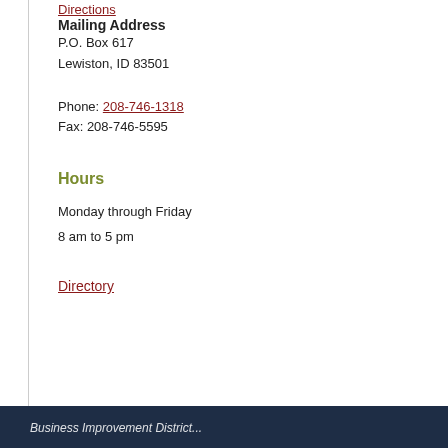Directions
Mailing Address
P.O. Box 617
Lewiston, ID 83501
Phone: 208-746-1318
Fax: 208-746-5595
Hours
Monday through Friday
8 am to 5 pm
Directory
Business Improvement District...